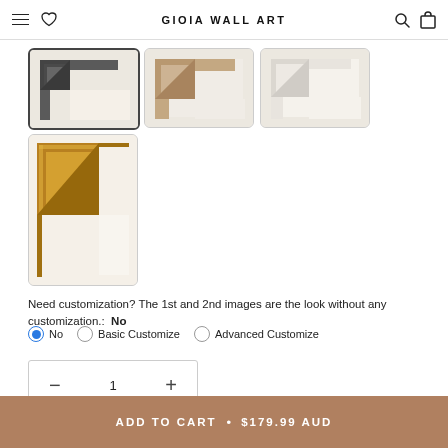GIOIA WALL ART
[Figure (photo): Thumbnail of black/dark gray picture frame corner on white/cream background, selected state]
[Figure (photo): Thumbnail of light tan/beige picture frame corner on white background]
[Figure (photo): Thumbnail of white/cream picture frame corner on white background]
[Figure (photo): Larger thumbnail of gold/bronze picture frame corner on white background]
Need customization? The 1st and 2nd images are the look without any customization.:  No
No
Basic Customize
Advanced Customize
1
ADD TO CART  •  $179.99 AUD